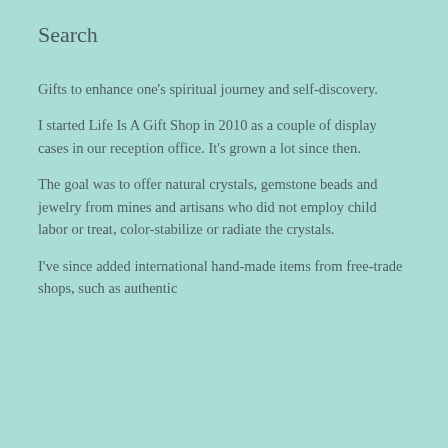Search
Gifts to enhance one's spiritual journey and self-discovery.
I started Life Is A Gift Shop in 2010 as a couple of display cases in our reception office. It's grown a lot since then.
The goal was to offer natural crystals, gemstone beads and jewelry from mines and artisans who did not employ child labor or treat, color-stabilize or radiate the crystals.
I've since added international hand-made items from free-trade shops, such as authentic